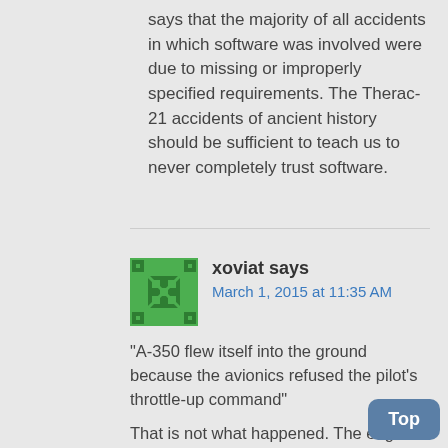says that the majority of all accidents in which software was involved were due to missing or improperly specified requirements. The Therac-21 accidents of ancient history should be sufficient to teach us to never completely trust software.
xoviat says
March 1, 2015 at 11:35 AM
"A-350 flew itself into the ground because the avionics refused the pilot's throttle-up command"
That is not what happened. The engines take a few seconds to